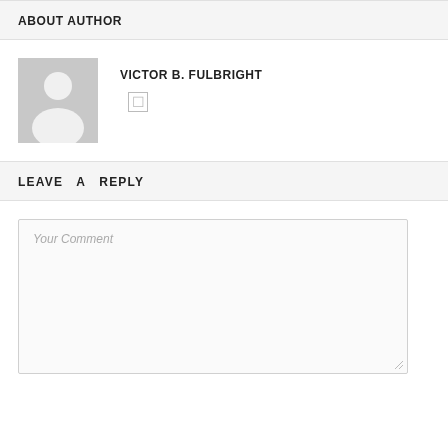ABOUT AUTHOR
[Figure (illustration): Default user avatar silhouette in gray]
VICTOR B. FULBRIGHT
LEAVE A REPLY
Your Comment